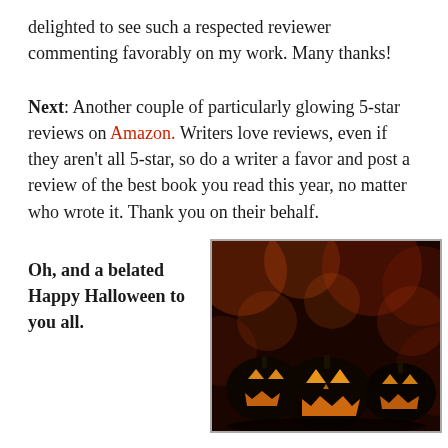delighted to see such a respected reviewer commenting favorably on my work. Many thanks!
Next: Another couple of particularly glowing 5-star reviews on Amazon. Writers love reviews, even if they aren't all 5-star, so do a writer a favor and post a review of the best book you read this year, no matter who wrote it. Thank you on their behalf.
Oh, and a belated Happy Halloween to you all.
[Figure (photo): Three glowing jack-o'-lanterns against a dark bokeh background with warm orange and red tones]
Whichever way